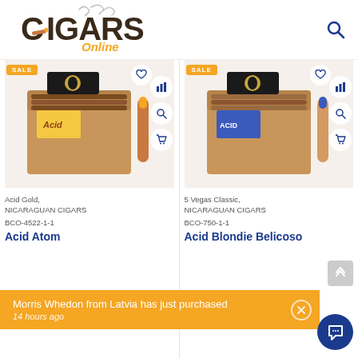[Figure (logo): Cigars Online logo with cigar graphic and smoke swirls]
[Figure (photo): Acid Gold cigar box opened showing cigars inside, NICARAGUAN CIGARS product]
Acid Gold,
NICARAGUAN CIGARS
BCO-4522-1-1
Acid Atom
[Figure (photo): 5 Vegas Classic cigar box opened showing cigars inside, NICARAGUAN CIGARS product]
5 Vegas Classic,
NICARAGUAN CIGARS
BCO-750-1-1
Acid Blondie Belicoso
Morris Whedon from Latvia has just purchased
14 hours ago